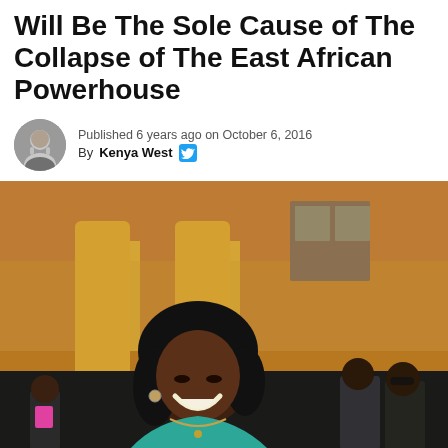Will Be The Sole Cause of The Collapse of The East African Powerhouse
Published 6 years ago on October 6, 2016
By Kenya West
[Figure (photo): A smiling woman in a teal/turquoise top laughing outdoors in front of a yellow and brick building with columns. Other people visible in background.]